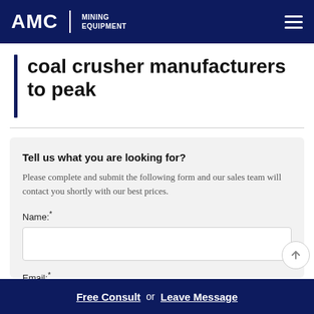AMC | MINING EQUIPMENT
coal crusher manufacturers to peak
Tell us what you are looking for?
Please complete and submit the following form and our sales team will contact you shortly with our best prices.
Name:*
Email:*
Free Consult  or  Leave Message